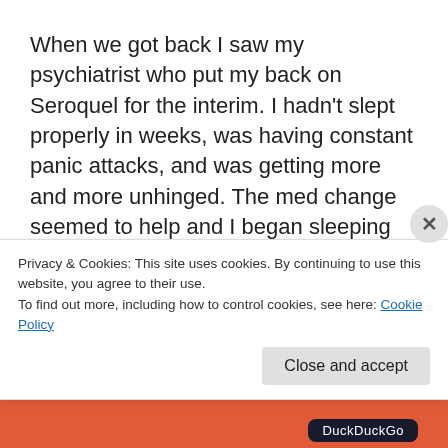When we got back I saw my psychiatrist who put my back on Seroquel for the interim. I hadn't slept properly in weeks, was having constant panic attacks, and was getting more and more unhinged. The med change seemed to help and I began sleeping again and my anxiety has subsided somewhat.
So here I am again. Just about to start another round of fertility treatment. Fighting to keep my autoimmune
Privacy & Cookies: This site uses cookies. By continuing to use this website, you agree to their use.
To find out more, including how to control cookies, see here: Cookie Policy
Close and accept